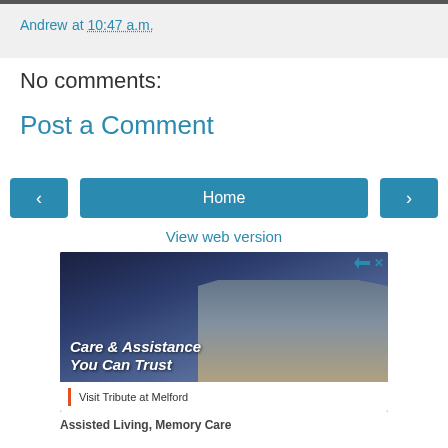Andrew at 10:47 a.m.
No comments:
Post a Comment
‹
Home
›
View web version
[Figure (photo): Advertisement for Tribute at Melford assisted living facility. Shows a building at dusk with text 'Care & Assistance You Can Trust' and 'Visit Tribute at Melford']
Assisted Living, Memory Care